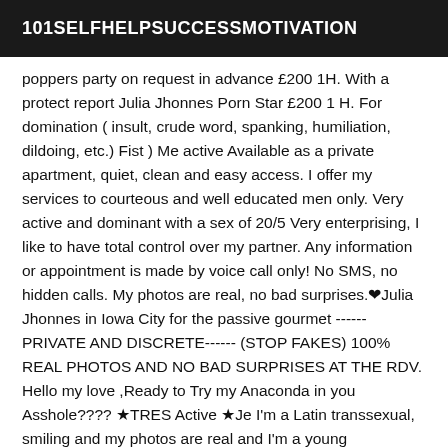101SELFHELPSUCCESSMOTIVATION
poppers party on request in advance £200 1H. With a protect report Julia Jhonnes Porn Star £200 1 H. For domination ( insult, crude word, spanking, humiliation, dildoing, etc.) Fist ) Me active Available as a private apartment, quiet, clean and easy access. I offer my services to courteous and well educated men only. Very active and dominant with a sex of 20/5 Very enterprising, I like to have total control over my partner. Any information or appointment is made by voice call only! No SMS, no hidden calls. My photos are real, no bad surprises.♥Julia Jhonnes in Iowa City for the passive gourmet ------ PRIVATE AND DISCRETE------ (STOP FAKES) 100% REAL PHOTOS AND NO BAD SURPRISES AT THE RDV. Hello my love ,Ready to Try my Anaconda in you Asshole???? ★TRES Active ★Je I'm a Latin transsexual, smiling and my photos are real and I'm a young transsexual, eager for new encounters with men or even libertine couples. I am as well active as